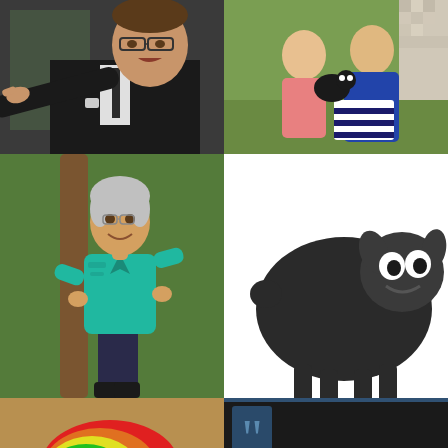[Figure (photo): Man in dark suit with glasses pointing finger, appearing to speak forcefully, in a formal setting]
[Figure (photo): Family photo with man in pink shirt, woman in blue dress, holding a small black dog, with children partially visible and pixelated]
[Figure (photo): Older woman with grey hair wearing teal/turquoise blouse, standing outdoors near a tree with green foliage behind]
[Figure (illustration): Cartoon black sheep with white eyes and a smile, on a white background]
[Figure (photo): Rainbow-colored sheep (red, orange, yellow, green, blue, purple) standing on dry ground]
[Figure (other): Dark background with white text reading: Forgiveness doesn't mean happened. ... If something is]